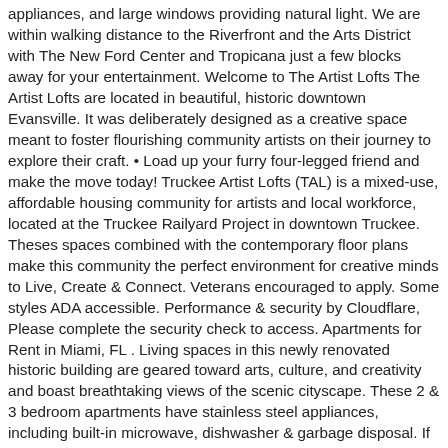appliances, and large windows providing natural light. We are within walking distance to the Riverfront and the Arts District with The New Ford Center and Tropicana just a few blocks away for your entertainment. Welcome to The Artist Lofts The Artist Lofts are located in beautiful, historic downtown Evansville. It was deliberately designed as a creative space meant to foster flourishing community artists on their journey to explore their craft. • Load up your furry four-legged friend and make the move today! Truckee Artist Lofts (TAL) is a mixed-use, affordable housing community for artists and local workforce, located at the Truckee Railyard Project in downtown Truckee. Theses spaces combined with the contemporary floor plans make this community the perfect environment for creative minds to Live, Create & Connect. Veterans encouraged to apply. Some styles ADA accessible. Performance & security by Cloudflare, Please complete the security check to access. Apartments for Rent in Miami, FL . Living spaces in this newly renovated historic building are geared toward arts, culture, and creativity and boast breathtaking views of the scenic cityscape. These 2 & 3 bedroom apartments have stainless steel appliances, including built-in microwave, dishwasher & garbage disposal. If you/your household members are students, please contact the Rental Office for more details. Income restrictions apply. Make Artist Lofts your new home. Click to view any of these 46 available rental units in Miami to see photos, reviews, floor plans and verified information about schools,